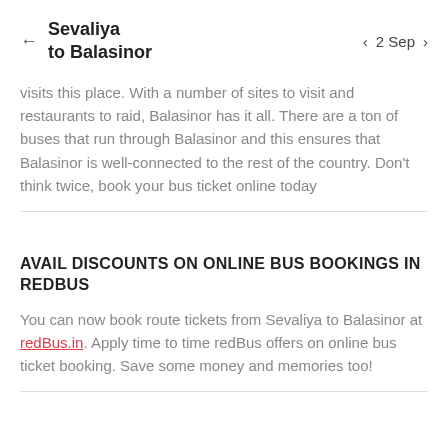Sevaliya to Balasinor  ← | < 2 Sep >
visits this place. With a number of sites to visit and restaurants to raid, Balasinor has it all. There are a ton of buses that run through Balasinor and this ensures that Balasinor is well-connected to the rest of the country. Don't think twice, book your bus ticket online today
AVAIL DISCOUNTS ON ONLINE BUS BOOKINGS IN REDBUS
You can now book route tickets from Sevaliya to Balasinor at redBus.in. Apply time to time redBus offers on online bus ticket booking. Save some money and memories too!